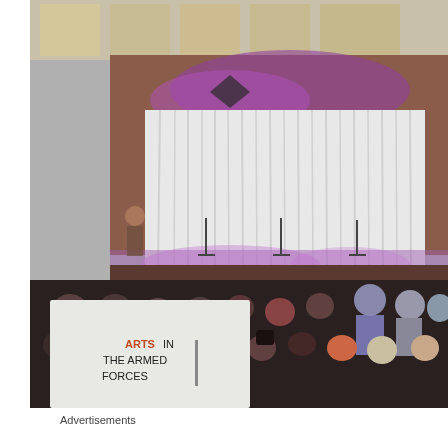[Figure (photo): A photograph showing the interior of an auditorium or concert hall. The stage is lit with purple/magenta lighting and has a white draped curtain backdrop with music stands visible. The audience is seen from behind sitting in dark chairs. In the lower left foreground, a light gray/white brochure or program is held up with the text 'ARTS IN THE ARMED FORCES' printed on it in red and dark text with a vertical bar accent.]
Advertisements